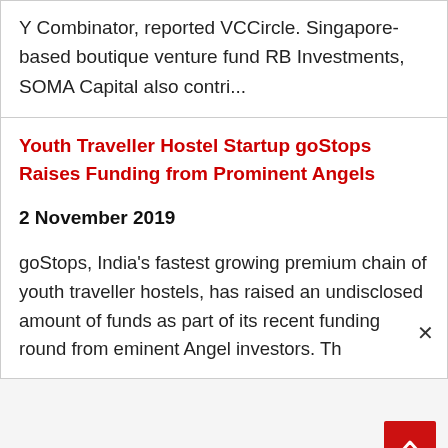Y Combinator, reported VCCircle. Singapore-based boutique venture fund RB Investments, SOMA Capital also contri...
Youth Traveller Hostel Startup goStops Raises Funding from Prominent Angels
2 November 2019
goStops, India’s fastest growing premium chain of youth traveller hostels, has raised an undisclosed amount of funds as part of its recent funding round from eminent Angel investors. Th